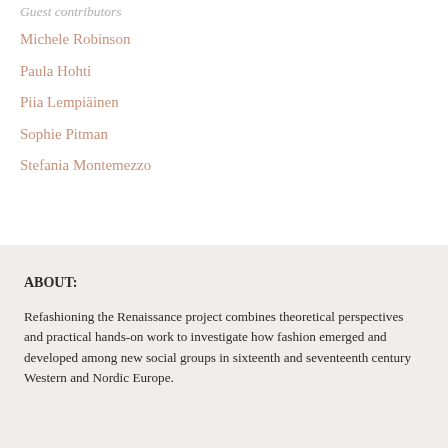Guest contributors
Michele Robinson
Paula Hohti
Piia Lempiäinen
Sophie Pitman
Stefania Montemezzo
ABOUT:
Refashioning the Renaissance project combines theoretical perspectives and practical hands-on work to investigate how fashion emerged and developed among new social groups in sixteenth and seventeenth century Western and Nordic Europe.